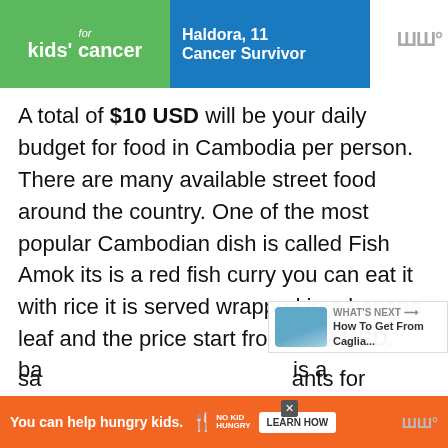[Figure (other): Advertisement banner for kids cancer charity with green and blue sections showing 'for kids cancer' and 'Haldora, 11 Cancer Survivor']
A total of $10 USD will be your daily budget for food in Cambodia per person. There are many available street food around the country. One of the most popular Cambodian dish is called Fish Amok its is a red fish curry you can eat it with rice it is served wrapped in a banana leaf and the price start from $1-2 USD.

If you are into noodles, Cambodian noodles it is soup and a very spicy one you can also buy it for as low as $1-2 USD. We also enjoyed juices in Cambodia for $1 USD. Noddles soup and
[Figure (other): Bottom advertisement banner: 'You can help hungry kids.' with No Kid Hungry logo and Learn How button]